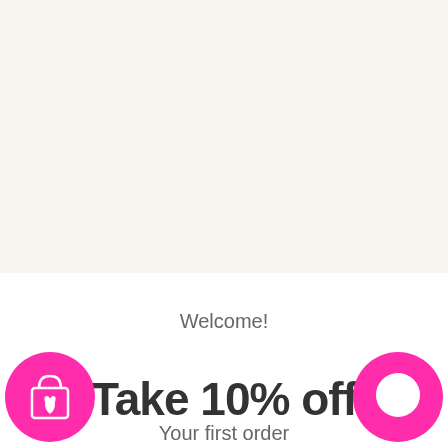[Figure (screenshot): Top blank area with off-white background]
[Figure (illustration): Close/dismiss button (circle with X) in upper right of modal]
Welcome!
Take 10% off
[Figure (illustration): Pink circle with shopping bag and heart icon on left side of promo text]
[Figure (illustration): Pink circle with chat bubble icon on right side of promo text]
Your first order